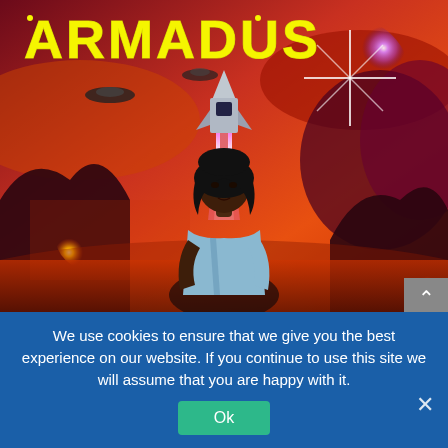[Figure (illustration): Comic book cover for ARMADUS. Shows a sci-fi scene with a young woman with dark skin and curly hair in a light blue outfit in the foreground, a silver spacecraft launching with purple/pink energy beams behind her, set against an orange and red sky with alien landscapes and a bright star burst in the upper right. The title ARMADUS appears in large yellow block letters at the top.]
We use cookies to ensure that we give you the best experience on our website. If you continue to use this site we will assume that you are happy with it.